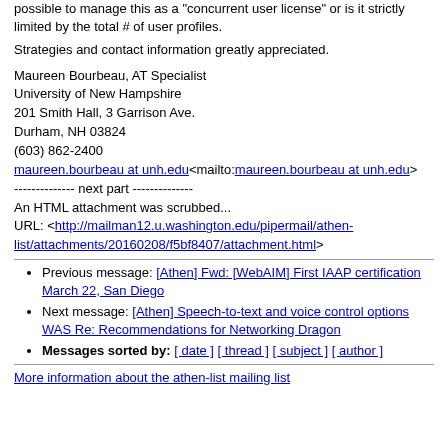possible to manage this as a "concurrent user license" or is it strictly limited by the total # of user profiles.
Strategies and contact information greatly appreciated.
Maureen Bourbeau, AT Specialist
University of New Hampshire
201 Smith Hall, 3 Garrison Ave.
Durham, NH 03824
(603) 862-2400
maureen.bourbeau at unh.edu<mailto:maureen.bourbeau at unh.edu>
-------------- next part --------------
An HTML attachment was scrubbed...
URL: <http://mailman12.u.washington.edu/pipermail/athen-list/attachments/20160208/f5bf8407/attachment.html>
Previous message: [Athen] Fwd: [WebAIM] First IAAP certification March 22, San Diego
Next message: [Athen] Speech-to-text and voice control options WAS Re: Recommendations for Networking Dragon
Messages sorted by: [ date ] [ thread ] [ subject ] [ author ]
More information about the athen-list mailing list